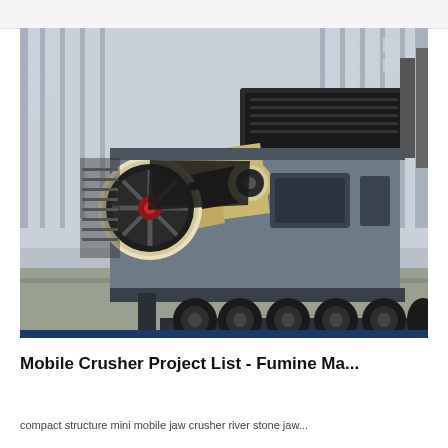[Figure (photo): A large mobile jaw crusher mounted on a multi-axle trailer chassis, photographed inside an industrial facility. The machine features a large flywheel, yellow-painted jaw crusher body, grey steel frame structure, vibrating feeder on top, and multiple large black rubber tyres. The background shows a steel-frame warehouse/factory building.]
Mobile Crusher Project List - Fumine Ma...
compact structure mini mobile jaw crusher river stone jaw...